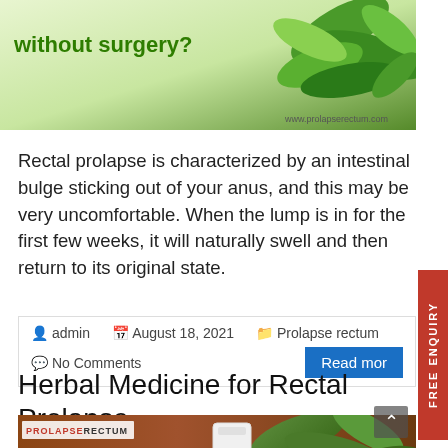[Figure (illustration): Herbal medicine banner with green leaves and text 'without surgery?' with URL www.prolapserectum.com]
Rectal prolapse is characterized by an intestinal bulge sticking out of your anus, and this may be very uncomfortable. When the lump is in for the first few weeks, it will naturally swell and then return to its original state.
admin   August 18, 2021   Prolapse rectum
No Comments   Read more
Herbal Medicine for Rectal Prolapse
[Figure (photo): Herbal medicine photo with PROLAPSERECTUM logo, herbs and a white container on wooden background]